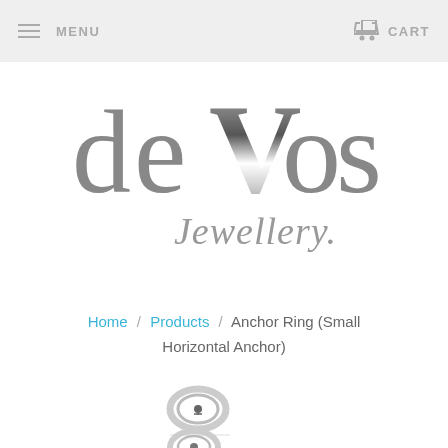MENU  CART
[Figure (logo): deVos Jewellery logo — stylized 'deVos' in large dark gray serif letters with a gradient V, and 'Jewellery' in script below]
Home / Products / Anchor Ring (Small Horizontal Anchor)
[Figure (photo): Small silver signet ring with anchor motif, product thumbnail 1]
[Figure (photo): Small silver signet ring with anchor motif, product thumbnail 2]